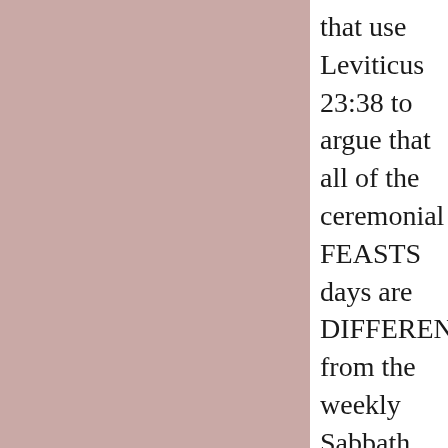[Figure (other): Pink/mauve colored rectangular panel occupying the left portion of the page]
that use Leviticus 23:38 to argue that all of the ceremonial FEASTS days are DIFFERENT from the weekly Sabbath day